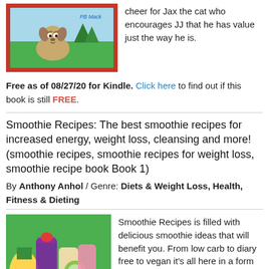[Figure (illustration): Children's book cover illustration showing a cartoon dog on green grass with 'PB Mack' written in blue text, red border]
cheer for Jax the cat who encourages JJ that he has value just the way he is.
Free as of 08/27/20 for Kindle. Click here to find out if this book is still FREE.
Smoothie Recipes: The best smoothie recipes for increased energy, weight loss, cleansing and more! (smoothie recipes, smoothie recipes for weight loss, smoothie recipe book Book 1)
By Anthony Anhol / Genre: Diets & Weight Loss, Health, Fitness & Dieting
[Figure (photo): Book cover for Smoothie Recipes showing colorful smoothies and fruits with text 'Smoothie Recipes' overlaid]
Smoothie Recipes is filled with delicious smoothie ideas that will benefit you. From low carb to diary free to vegan it's all here in a form that anyone can make, including you!